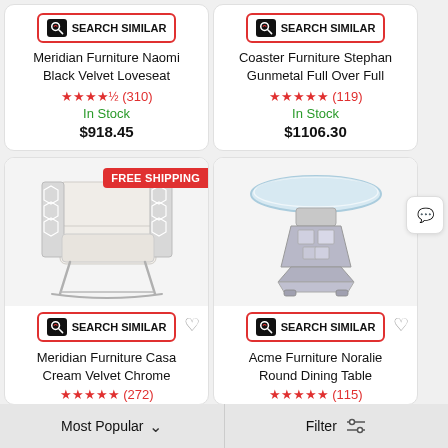[Figure (screenshot): Search Similar button for top-left product]
Meridian Furniture Naomi Black Velvet Loveseat
★★★★½ (310)
In Stock
$918.45
[Figure (screenshot): Search Similar button for top-right product]
Coaster Furniture Stephan Gunmetal Full Over Full
★★★★★ (119)
In Stock
$1106.30
[Figure (photo): White velvet armchair with hexagonal chrome frame and chrome legs]
[Figure (screenshot): Search Similar button for bottom-left product]
Meridian Furniture Casa Cream Velvet Chrome
★★★★★ (272)
[Figure (photo): Round glass dining table with mirrored/crystal pedestal base]
[Figure (screenshot): Search Similar button for bottom-right product]
Acme Furniture Noralie Round Dining Table
★★★★★ (115)
Most Popular
Filter